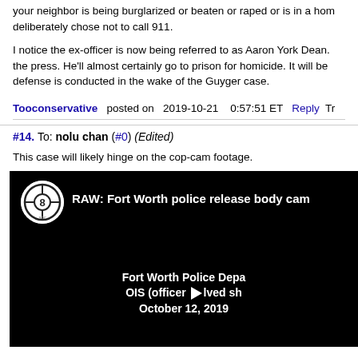your neighbor is being burglarized or beaten or raped or is in a hom... deliberately chose not to call 911.
I notice the ex-officer is now being referred to as Aaron York Dean. the press. He'll almost certainly go to prison for homicide. It will be defense is conducted in the wake of the Guyger case.
Tooconservative posted on 2019-10-21 0:57:51 ET Reply Tr
#14. To: nolu chan (#0) (Edited)
This case will likely hinge on the cop-cam footage.
[Figure (screenshot): Video thumbnail for 'RAW: Fort Worth police release body cam' showing Fort Worth Police Department OIS (officer involved shooting) October 12, 2019 with a play button overlay and ABC 8 logo.]